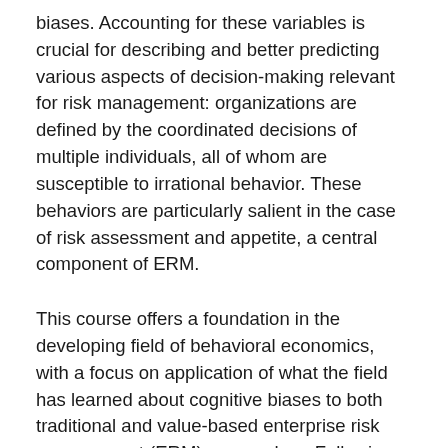biases. Accounting for these variables is crucial for describing and better predicting various aspects of decision-making relevant for risk management: organizations are defined by the coordinated decisions of multiple individuals, all of whom are susceptible to irrational behavior. These behaviors are particularly salient in the case of risk assessment and appetite, a central component of ERM.
This course offers a foundation in the developing field of behavioral economics, with a focus on application of what the field has learned about cognitive biases to both traditional and value-based enterprise risk management (ERM) approaches. Following this course, students will be versed in the terminology, concepts, and technical aspects of behavioral economics theory; they will understand how behavior emerges and manifests in individuals; they will be able to identify and account for various cognitive biases; and they will be able to apply this knowledge to the